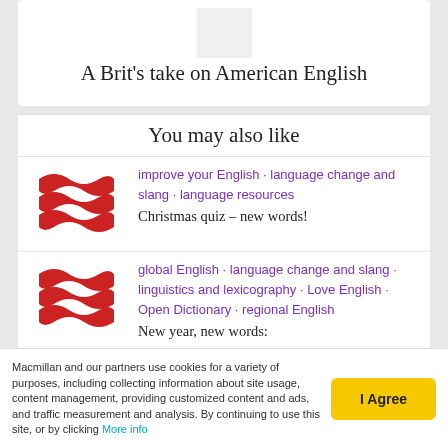A Brit's take on American English
You may also like
improve your English · language change and slang · language resources
Christmas quiz – new words!
global English · language change and slang · linguistics and lexicography · Love English · Open Dictionary · regional English
New year, new words:
Macmillan and our partners use cookies for a variety of purposes, including collecting information about site usage, content management, providing customized content and ads, and traffic measurement and analysis. By continuing to use this site, or by clicking More info